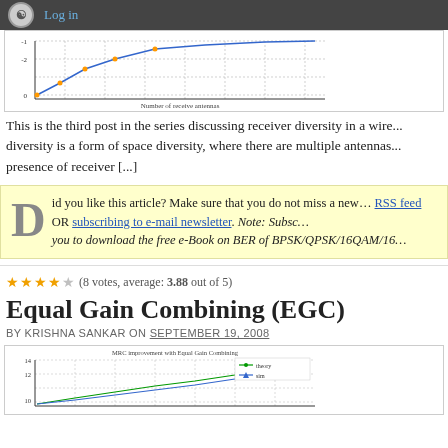Log in
[Figure (continuous-plot): Line chart showing BER vs number of receive antennas, with dotted gridlines, x-axis labeled 'Number of receive antennas']
This is the third post in the series discussing receiver diversity in a wire... diversity is a form of space diversity, where there are multiple antennas... presence of receiver [...]
Did you like this article? Make sure that you do not miss a new... RSS feed OR subscribing to e-mail newsletter. Note: Subsc... you to download the free e-Book on BER of BPSK/QPSK/16QAM/16...
(8 votes, average: 3.88 out of 5)
Equal Gain Combining (EGC)
by KRISHNA SANKAR on SEPTEMBER 19, 2008
[Figure (continuous-plot): Line chart titled 'MRC improvement with Equal Gain Combining' with theory and sim curves, y-axis from 10 to 14, legend showing theory and sim lines]